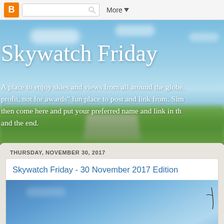B  [search box]  More ▼
Skywatch Friday
A place to enjoy skies and views from all around the globe. profit, not for awards" fun place to post and link from. Sim then come here and put your preferred name and link in th and the end.
THURSDAY, NOVEMBER 30, 2017
Skywatch Friday - 30 November 2017 Edition
[Figure (photo): Blue sky photograph used as blog post thumbnail]